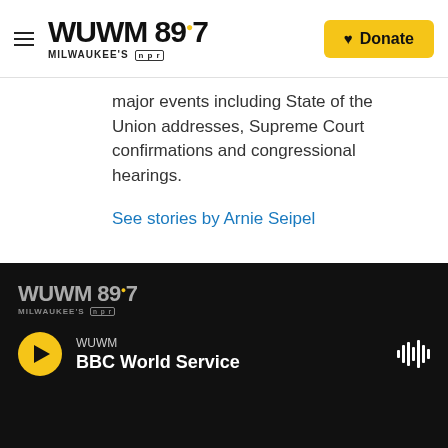WUWM 89.7 Milwaukee's NPR — Donate
major events including State of the Union addresses, Supreme Court confirmations and congressional hearings.
See stories by Arnie Seipel
WUWM 89.7 Milwaukee's NPR — WUWM — BBC World Service